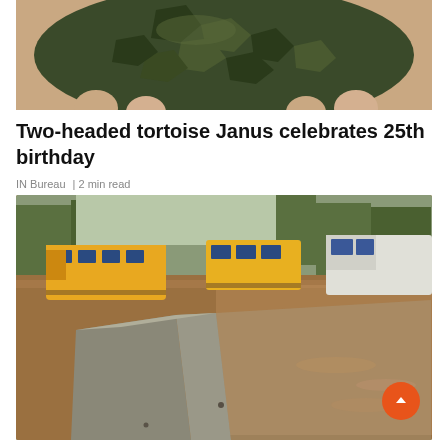[Figure (photo): Close-up photo of a two-headed tortoise being held by a person's hand, showing dark green/brown patterned shell from above]
Two-headed tortoise Janus celebrates 25th birthday
IN Bureau | 2 min read
[Figure (photo): Photo of a flooded road/highway with brown murky water, concrete median barrier in the foreground, and several vehicles including yellow school buses and a white truck visible in the floodwater, with trees in the background]